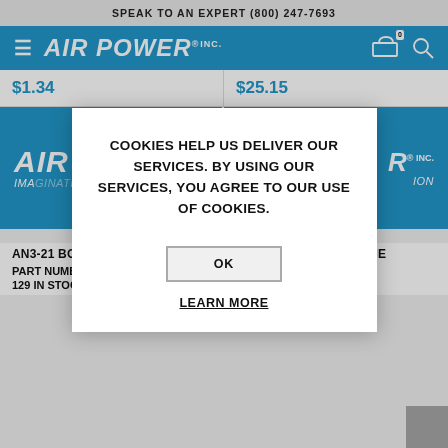SPEAK TO AN EXPERT (800) 247-7693
[Figure (logo): Air Power Inc. logo on blue navigation bar with hamburger menu, cart icon with badge showing 0, and search icon]
$1.34
$25.15
[Figure (illustration): Two product image placeholders with blue Air Power Inc. branding backgrounds]
COOKIES HELP US DELIVER OUR SERVICES. BY USING OUR SERVICES, YOU AGREE TO OUR USE OF COOKIES.
OK
LEARN MORE
AN3-21 BOLT, MACHINE
PART NUMBER: AN3-21
129 IN STOCK - NEW
AN3-32A BOLT, MACHINE
PART NUMBER: AN3-32A
15 IN STOCK - NEW